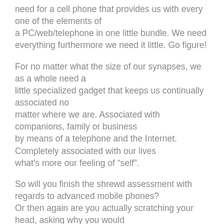need for a cell phone that provides us with every one of the elements of
a PC/web/telephone in one little bundle. We need everything furthermore we need it little. Go figure!
For no matter what the size of our synapses, we as a whole need a
little specialized gadget that keeps us continually associated no
matter where we are. Associated with companions, family or business
by means of a telephone and the Internet. Completely associated with our lives
what's more our feeling of “self”.
So will you finish the shrewd assessment with regards to advanced mobile phones?
Or then again are you actually scratching your head, asking why you would